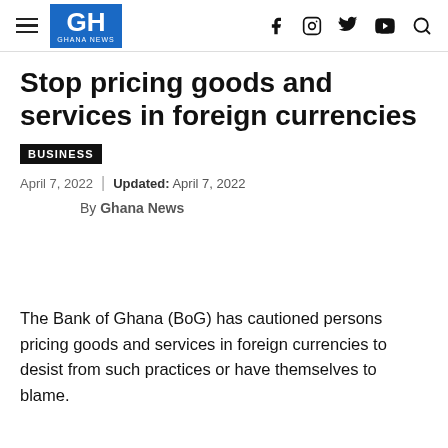GH GHANA NEWS — navigation header with social icons
Stop pricing goods and services in foreign currencies
BUSINESS
April 7, 2022  |  Updated: April 7, 2022
By Ghana News
The Bank of Ghana (BoG) has cautioned persons pricing goods and services in foreign currencies to desist from such practices or have themselves to blame.